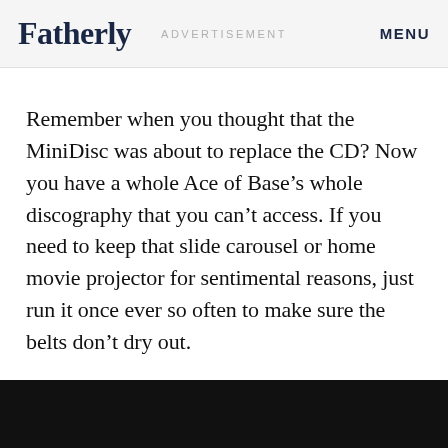Fatherly | ADVERTISEMENT | MENU
Remember when you thought that the MiniDisc was about to replace the CD? Now you have a whole Ace of Base’s whole discography that you can’t access. If you need to keep that slide carousel or home movie projector for sentimental reasons, just run it once ever so often to make sure the belts don’t dry out.